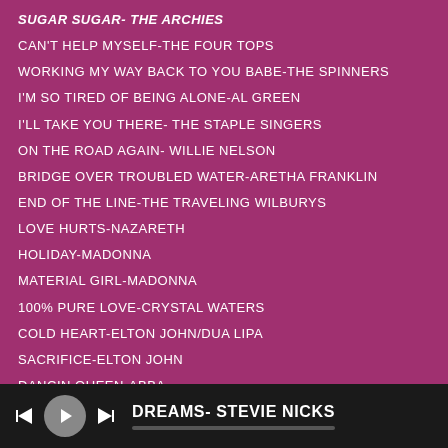SUGAR SUGAR- THE ARCHIES
CAN'T HELP MYSELF-THE FOUR TOPS
WORKING MY WAY BACK TO YOU BABE-THE SPINNERS
I'M SO TIRED OF BEING ALONE-AL GREEN
I'LL TAKE YOU THERE- THE STAPLE SINGERS
ON THE ROAD AGAIN- WILLIE NELSON
BRIDGE OVER TROUBLED WATER-ARETHA FRANKLIN
END OF THE LINE-THE TRAVELING WILBURYS
LOVE HURTS-NAZARETH
HOLIDAY-MADONNA
MATERIAL GIRL-MADONNA
100% PURE LOVE-CRYSTAL WATERS
COLD HEART-ELTON JOHN/DUA LIPA
SACRIFICE-ELTON JOHN
DANCIN QUEEN-ABBA
YOU DON'T KNOW ME-RAY CHARLES
DREAMS- STEVIE NICKS